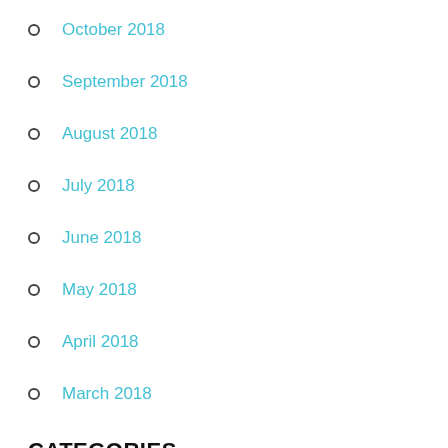October 2018
September 2018
August 2018
July 2018
June 2018
May 2018
April 2018
March 2018
CATEGORIES
business
business article
business current events
business information
business link
business logo
business magazine